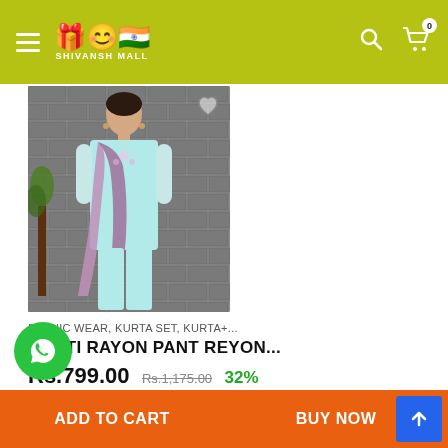SHIVANSH MALL — navigation header with search and cart
[Figure (photo): Woman wearing a light blue kurti rayon pant set with printed dupatta, standing against a stone brick wall background]
ETHNIC WEAR, KURTA SET, KURTA+...
KURTI RAYON PANT REYON...
Rs.799.00 Rs.1,175.00 32% Off
ADD TO CART | BUY NOW